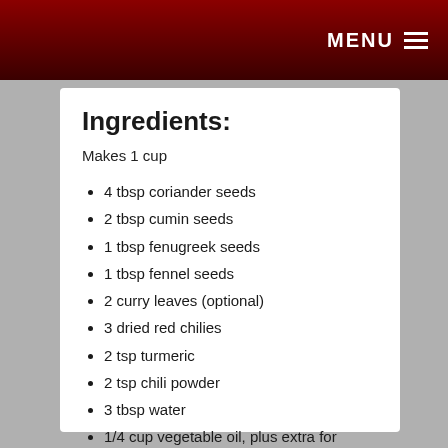MENU
Ingredients:
Makes 1 cup
4 tbsp coriander seeds
2 tbsp cumin seeds
1 tbsp fenugreek seeds
1 tbsp fennel seeds
2 curry leaves (optional)
3 dried red chilies
2 tsp turmeric
2 tsp chili powder
3 tbsp water
1/4 cup vegetable oil, plus extra for sealing